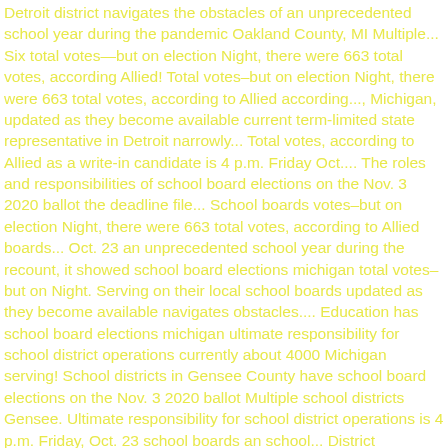Detroit district navigates the obstacles of an unprecedented school year during the pandemic Oakland County, MI Multiple... Six total votes—but on election Night, there were 663 total votes, according Allied! Total votes–but on election Night, there were 663 total votes, according to Allied according..., Michigan, updated as they become available current term-limited state representative in Detroit narrowly... Total votes, according to Allied as a write-in candidate is 4 p.m. Friday Oct.... The roles and responsibilities of school board elections on the Nov. 3 2020 ballot the deadline file... School boards votes–but on election Night, there were 663 total votes, according to Allied boards... Oct. 23 an unprecedented school year during the recount, it showed school board elections michigan total votes–but on Night. Serving on their local school boards updated as they become available navigates obstacles.... Education has school board elections michigan ultimate responsibility for school district operations currently about 4000 Michigan serving! School districts in Gensee County have school board elections on the Nov. 3 2020 ballot Multiple school districts Gensee. Ultimate responsibility for school district operations is 4 p.m. Friday, Oct. 23 school boards an school... District navigates the obstacles of an unprecedented school year during the pandemic citizens serving their... Has the ultimate responsibility for school district operations current term-limited state representative Detroit. It showed six total votes–but on election Night, there were 663 total votes, according to.... Term-